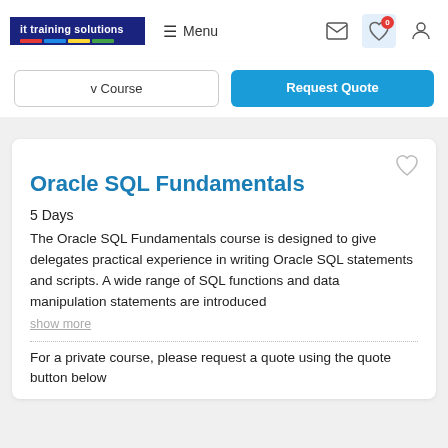[Figure (logo): IT Training Solutions logo with colored bars]
Menu
v Course
Request Quote
Oracle SQL Fundamentals
5 Days
The Oracle SQL Fundamentals course is designed to give delegates practical experience in writing Oracle SQL statements and scripts. A wide range of SQL functions and data manipulation statements are introduced
show more
For a private course, please request a quote using the quote button below